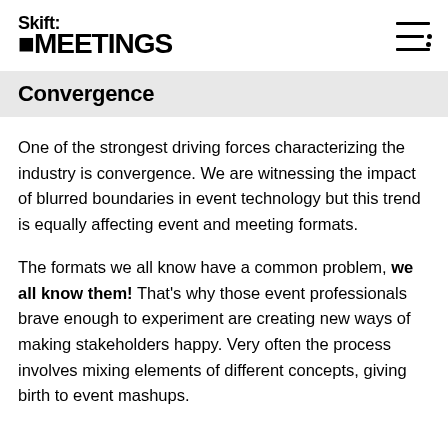Skift MEETINGS
Convergence
One of the strongest driving forces characterizing the industry is convergence. We are witnessing the impact of blurred boundaries in event technology but this trend is equally affecting event and meeting formats.
The formats we all know have a common problem, we all know them! That's why those event professionals brave enough to experiment are creating new ways of making stakeholders happy. Very often the process involves mixing elements of different concepts, giving birth to event mashups.